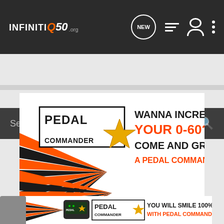INFINITI Q50 .org — navigation bar with NEW, list, user, and menu icons
Search Community
[Figure (illustration): Pedal Commander advertisement banner. White background with orange and black diagonal spike/lightning bolt graphics on the left. Text reads: WANNA INCREASE YOUR 0-60? COME AND GRAB A PEDAL COMMANDER. Pedal Commander logo with gold star on the left. A Pedal Commander device shown bottom right.]
[Figure (illustration): Pedal Commander advertisement strip. Orange and black spike graphics on left, device shown, Pedal Commander logo with gold star, text: YOU WILL SMILE 100% WITH PEDAL COMMANDER]